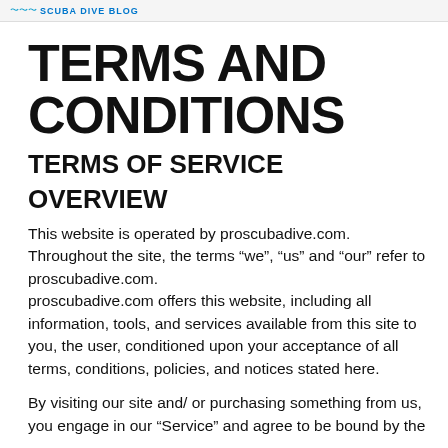SCUBA DIVE BLOG
TERMS AND CONDITIONS
TERMS OF SERVICE
OVERVIEW
This website is operated by proscubadive.com. Throughout the site, the terms “we”, “us” and “our” refer to proscubadive.com.
proscubadive.com offers this website, including all information, tools, and services available from this site to you, the user, conditioned upon your acceptance of all terms, conditions, policies, and notices stated here.
By visiting our site and/ or purchasing something from us, you engage in our “Service” and agree to be bound by the